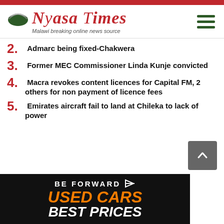Nyasa Times - Malawi breaking online news source
2. Admarc being fixed-Chakwera
3. Former MEC Commissioner Linda Kunje convicted
4. Macra revokes content licences for Capital FM, 2 others for non payment of licence fees
5. Emirates aircraft fail to land at Chileka to lack of power
[Figure (illustration): BE FORWARD - Used Cars Best Prices advertisement banner with orange and white text on black background]